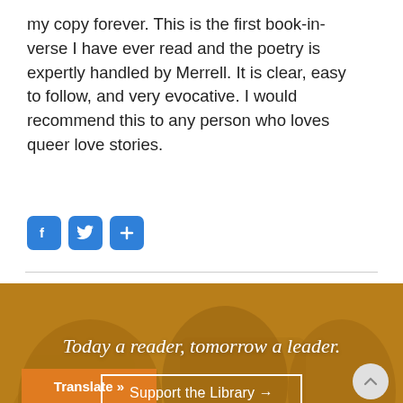my copy forever. This is the first book-in-verse I have ever read and the poetry is expertly handled by Merrell. It is clear, easy to follow, and very evocative. I would recommend this to any person who loves queer love stories.
[Figure (infographic): Social share icons: Facebook (F), Twitter (bird), and a plus (+) share button, each in blue rounded square]
[Figure (photo): Banner with golden/amber overlay over a photo of children and an adult reading. Text reads 'Today a reader, tomorrow a leader.' with a 'Support the Library →' button.]
Translate »